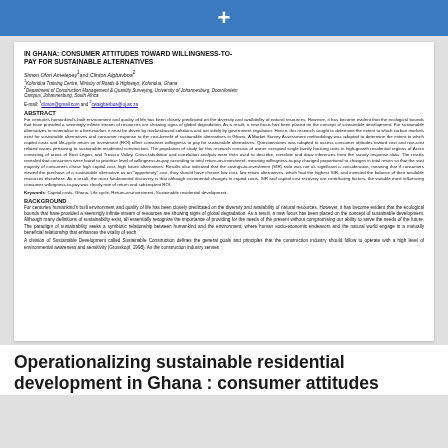+
IN GHANA: CONSUMER ATTITUDES TOWARD WILLINGNESS-TO-PAY FOR SUSTAINABLE ALTERNATIVES
Simon Ofori Ametepey¹and Clinton Aigbavboa²
¹Koforidua Training Centre, Ministry of Roads & Highways, Koforidua, Ghana
²Department of Construction Management & Quantity Surveying, University of Johannesburg, Doornfontein Campus, Johannesburg, South Africa
E-mail: ¹clinton@gmail.com and ²cwaigbavboa@uj.ac.za
ABSTRACT
For centuries humankind's built environment and quality of life has been closely predicated on the diversity and availability of natural resources. However, it has become evident that the ecological bounds that have provided a seemingly infinite stream of resources are showing signs of global degradation. As a result, a new focus has been placed on the concept of sustainable development. For sustainable alternatives to materialise in a free-market, it must be driven by market-based solutions and not solely by government regulation. Hence, this research sought to determine the extent to which carbon markets exist for sustainable alternatives and consumer response to the cost-benefit of sustainable alternatives in Ghana. A Market Survey Assessment methodology was adopted to determine the extent to which capital costs and life-cycle return on investment (ROI) affect consumer willingness to pay for sustainable alternatives. Questionnaires was adapted to assess consumer attitudes toward cost and non-cost related issues pertaining to sustainable residential construction. The population of study for this research consists of owner occupied single family housing units in high-growth residential regions of Accra consisting of areas of East Legon, and Trassco Valley. Cross-tabulation and correlation analysis were then used to describe, correlate and draw inferences from the survey response data. The results revealed that consumers were found to prioritise level of willingness-to-pay according to total return-on-investment, meaning willingness-to-pay changed proportional to changes in total return so that the vast majority of consumers chose high capital cost, high future alternatives. Results also indicated that the savings-to-investment (SIR) ratio was not as significant a consideration, meaning that if consumers viewed the purchase of a sustainable alternative as an "opportunity" cost, they should have chosen low cost, low return alternatives, which had the highest SIR, and invested the balance of their available resources elsewhere. As a result, the most fundamental discovery is that although incremental changes in capital costs, SIR and capital cost recovery are contributing factors, the variable most influencing consumer willingness-to-pay was clearly rate of return and subsequent ROI.
Keywords: Capital costs, Ghana, Life cycle, Return-on-investment, Sustainable residential development.
BACKGROUND
For centuries humankind's built environment and quality of life has been closely predicated on the diversity and availability of natural resources. However, it has become evident that the ecological bounds that have provided a seemingly infinite stream of resources are showing signs of global degradation. As a result, a new focus has been placed on the concept of sustainable development. Although many definitions of sustainability exist, all essentially recognize the importance of providing for the needs of the present without compromising our ability to serve the needs of the future. The paradigm of sustainability seeks a symbiotic relationship between humankind and the environment, where human socio-economic endeavors and the natural world engage in a mutually beneficial relationship that enhances the vitality of each.
A division of Sustainable Development called Sustainable Construction defines the general goals and principles that the construction industry should follow to operate with a high level of environmental awareness and sensitivity (Grosskopf, 1998). As the construction industry senses
Operationalizing sustainable residential development in Ghana : consumer attitudes